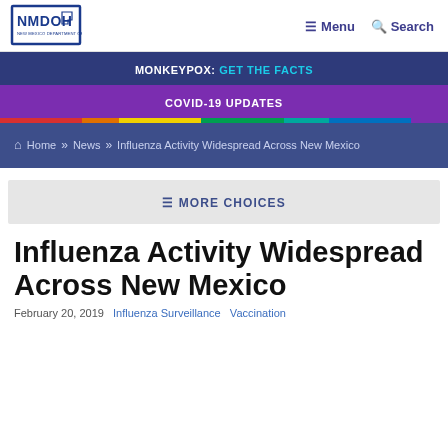[Figure (logo): NMDOH New Mexico Department of Health logo — blue square outline with state silhouette]
≡ Menu  🔍 Search
MONKEYPOX: GET THE FACTS
COVID-19 UPDATES
🏠 Home » News » Influenza Activity Widespread Across New Mexico
≡ MORE CHOICES
Influenza Activity Widespread Across New Mexico
February 20, 2019  Influenza Surveillance  Vaccination